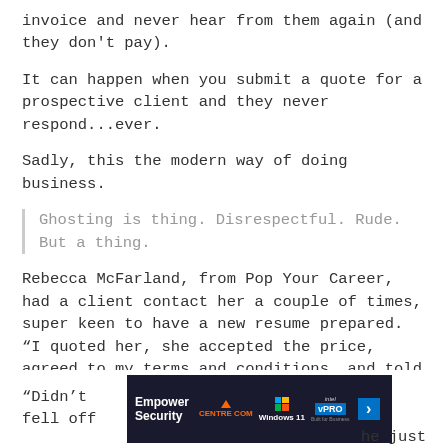invoice and never hear from them again (and they don't pay).
It can happen when you submit a quote for a prospective client and they never respond...ever.
Sadly, this the modern way of doing business.
Ghosting is thing. Disrespectful. Rude. But a thing.
Rebecca McFarland, from Pop Your Career, had a client contact her a couple of times, super keen to have a new resume prepared. “I quoted her, she accepted the price, agreed to my terms and conditions, and told me to go ahead and invoice her… then nothing,” she said.
“Didn’t he just fell off
[Figure (other): Advertisement banner for Empower Security featuring Centre Com, Windows 11, and Intel vPRO logos]